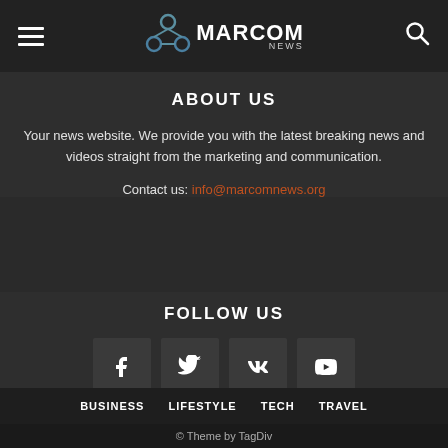MARCOM NEWS
ABOUT US
Your news website. We provide you with the latest breaking news and videos straight from the marketing and communication.
Contact us: info@marcomnews.org
FOLLOW US
[Figure (other): Social media icon buttons: Facebook, Twitter, VK, YouTube]
BUSINESS   LIFESTYLE   TECH   TRAVEL
© Theme by TagDiv